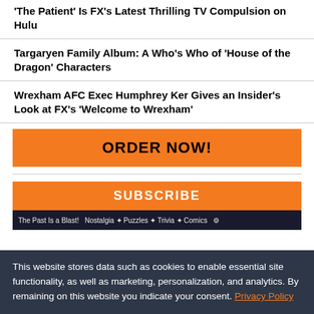'The Patient' Is FX's Latest Thrilling TV Compulsion on Hulu
Targaryen Family Album: A Who's Who of 'House of the Dragon' Characters
Wrexham AFC Exec Humphrey Ker Gives an Insider's Look at FX's 'Welcome to Wrexham'
[Figure (other): Orange ORDER NOW! button]
[Figure (other): Orange SUBSCRIBE button with magazine banner showing 'The Past Is a Blast! Nostalgia * Puzzles * Trivia * Comics']
This website stores data such as cookies to enable essential site functionality, as well as marketing, personalization, and analytics. By remaining on this website you indicate your consent. Privacy Policy